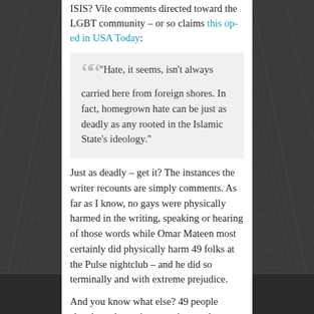ISIS? Vile comments directed toward the LGBT community – or so claims this op-ed in USA Today:
“Hate, it seems, isn’t always carried here from foreign shores. In fact, homegrown hate can be just as deadly as any rooted in the Islamic State’s ideology.”
Just as deadly – get it? The instances the writer recounts are simply comments. As far as I know, no gays were physically harmed in the writing, speaking or hearing of those words while Omar Mateen most certainly did physically harm 49 folks at the Pulse nightclub – and he did so terminally and with extreme prejudice.
And you know what else? 49 people slaughtered wasn’t a terrorist attack perpetrated by a jihadi, it was a hate crime against the LGBT community and